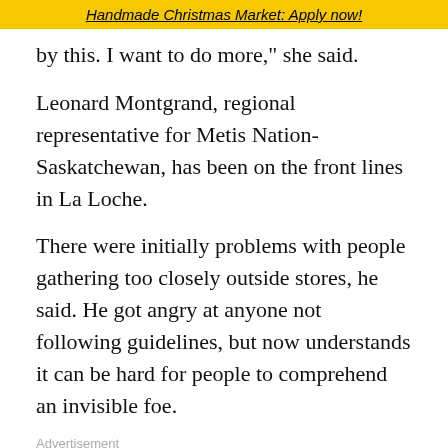Handmade Christmas Market: Apply now!
by this. I want to do more," she said.
Leonard Montgrand, regional representative for Metis Nation-Saskatchewan, has been on the front lines in La Loche.
There were initially problems with people gathering too closely outside stores, he said. He got angry at anyone not following guidelines, but now understands it can be hard for people to comprehend an invisible foe.
Advertisement
[Figure (other): Advertisement banner for Sudbury Catholic Schools with teal background, shield logo, text 'SUDBURY CATHOLIC SCHOOLS' and 'Education That Inspires!' with a Learn More button]